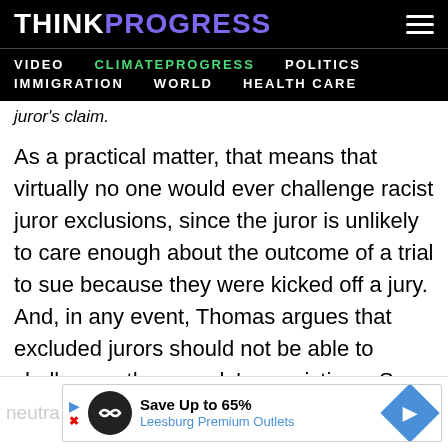THINKPROGRESS
VIDEO   CLIMATEPROGRESS   POLITICS   IMMIGRATION   WORLD   HEALTH CARE
juror's claim.
As a practical matter, that means that virtually no one would ever challenge racist juror exclusions, since the juror is unlikely to care enough about the outcome of a trial to sue because they were kicked off a jury. And, in any event, Thomas argues that excluded jurors should not be able to challenge other people's convictions. So Thomas' would neutra
[Figure (screenshot): Advertisement banner: Save Up to 65% Leesburg Premium Outlets with logo icons]